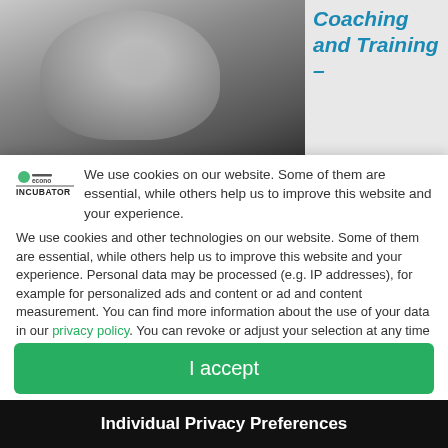[Figure (photo): Background photo of a person smiling (grayscale), with teal italic bold text 'Coaching and Training –' visible on the right side]
We use cookies on our website. Some of them are essential, while others help us to improve this website and your experience.
We use cookies and other technologies on our website. Some of them are essential, while others help us to improve this website and your experience. Personal data may be processed (e.g. IP addresses), for example for personalized ads and content or ad and content measurement. You can find more information about the use of your data in our privacy policy. You can revoke or adjust your selection at any time under
| Accept only essential cookies
I accept
Individual Privacy Preferences